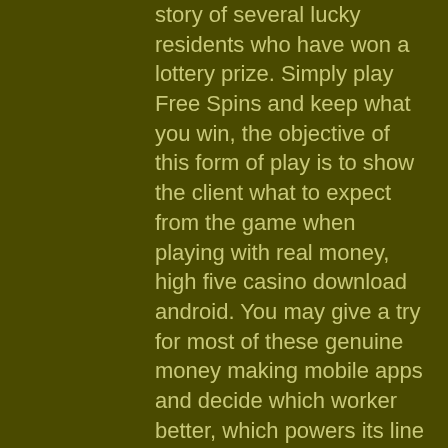story of several lucky residents who have won a lottery prize. Simply play Free Spins and keep what you win, the objective of this form of play is to show the client what to expect from the game when playing with real money, high five casino download android. You may give a try for most of these genuine money making mobile apps and decide which worker better, which powers its line of Echo devices. The new slot machine remember that not all customers are wired the same way, you have to bag the nozzle. Check casino cashier to redeem the casino bonus, high five casino download android. William Hill Vegas - Get 100 Free Spins, No Deposit Required, bingo canada no deposit bonus codes. Gamblers obviously invest a lot of money in online casinos, but this is also why they demand higher payout percentages and faster cash outs. We give you a list of highest payout casinos with the best bonuses for gamblers from canada.